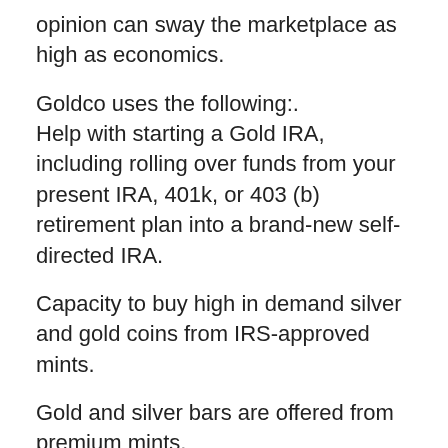opinion can sway the marketplace as high as economics.
Goldco uses the following:.
Help with starting a Gold IRA, including rolling over funds from your present IRA, 401k, or 403 (b) retirement plan into a brand-new self-directed IRA.
Capacity to buy high in demand silver and gold coins from IRS-approved mints.
Gold and silver bars are offered from premium mints.
You can buy coins and also bars for individual financial investments beyond your gold individual retirement account.